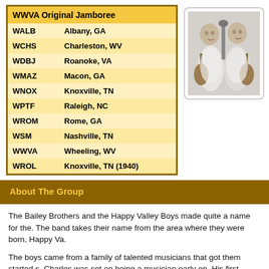| WWVA Original Jamboree |  |
| --- | --- |
| WALB | Albany, GA |
| WCHS | Charleston, WV |
| WDBJ | Roanoke, VA |
| WMAZ | Macon, GA |
| WNOX | Knoxville, TN |
| WPTF | Raleigh, NC |
| WROM | Rome, GA |
| WSM | Nashville, TN |
| WWVA | Wheeling, WV |
| WROL | Knoxville, TN (1940) |
[Figure (photo): Black and white photo of two men (the Bailey Brothers) holding guitars and posing with a microphone]
About The Group
The Bailey Brothers and the Happy Valley Boys made quite a name for the. The band takes their name from the area where they were born, Happy Va.
The boys came from a family of talented musicians that got them started s. Charles was set on being a musician early on. His first guitar cost the tidy seventy-five cents. He embarked on his musical career right out of high sc radio stations.